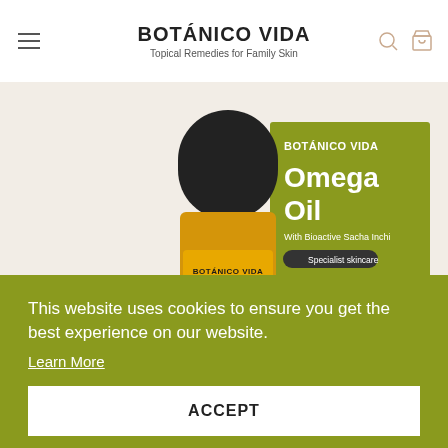BOTÁNICO VIDA
Topical Remedies for Family Skin
[Figure (photo): Product photo of Botánico Vida Omega Oil bottle with black cap and amber glass body, alongside its olive-green product box showing 'Omega Oil With Bioactive Sacha Inchi', 'Specialist skincare' badge, and uses: Dry or Irritated Skin, Stretch Marks, Scars, Ageing Skin]
This website uses cookies to ensure you get the best experience on our website.
Learn More
ACCEPT